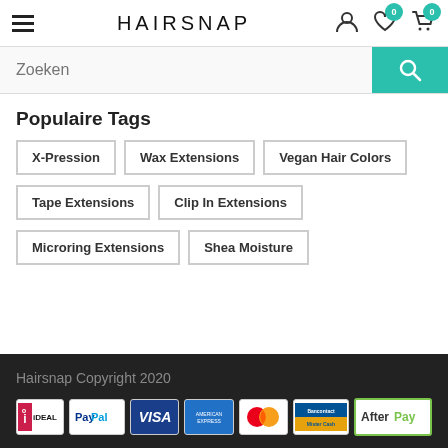HAIRSNAP
Zoeken
Populaire Tags
X-Pression
Wax Extensions
Vegan Hair Colors
Tape Extensions
Clip In Extensions
Microring Extensions
Shea Moisture
Hairsnap Copyright 2020
[Figure (logo): Payment method logos: iDEAL, PayPal, VISA, American Express, Mastercard, Bancontact Mister Cash, AfterPay]